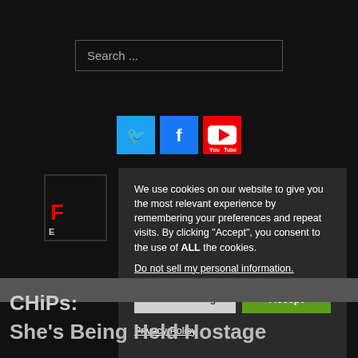[Figure (screenshot): Search input box with placeholder text 'Search ...' on dark background]
[Figure (infographic): Three social media icon buttons: Twitter (blue bird), Facebook (blue f), YouTube (red play button)]
[Figure (logo): Website logo with red letter and text below on dark background]
We use cookies on our website to give you the most relevant experience by remembering your preferences and repeat visits. By clicking “Accept”, you consent to the use of ALL the cookies.
Do not sell my personal information.
Cookie Settings
Accept
Privacy Policy
CHiPs:
She’s Being Held Hostage